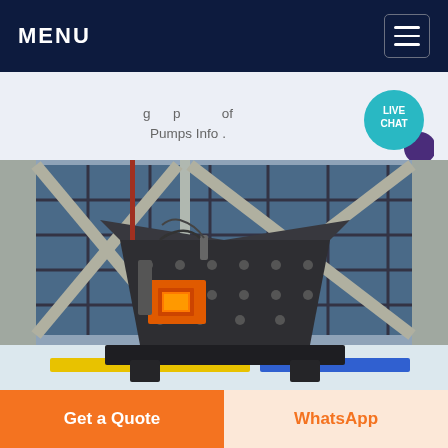MENU
Pumps Info .
[Figure (photo): Industrial impact crusher / jaw crusher machine in dark grey metal, with orange control panel, set against a large glazed industrial building facade with concrete pillars. Snow-covered ground visible. Yellow and blue barriers at front.]
Get a Quote
WhatsApp